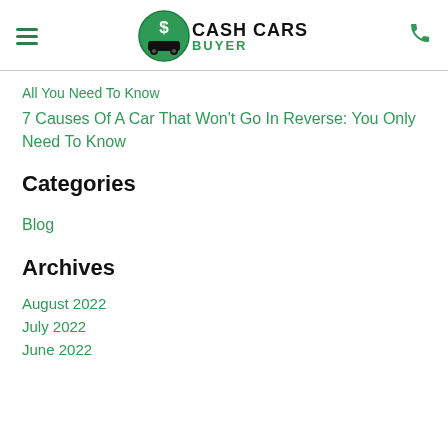Cash Cars Buyer - navigation header with logo
All You Need To Know
7 Causes Of A Car That Won't Go In Reverse: You Only Need To Know
Categories
Blog
Archives
August 2022
July 2022
June 2022